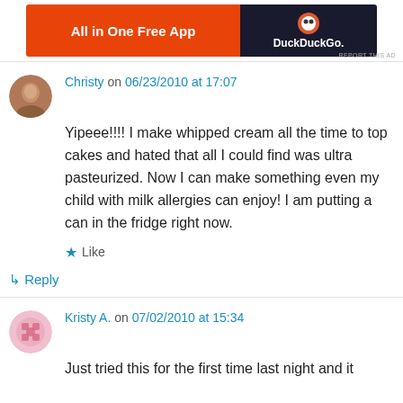[Figure (screenshot): Advertisement banner with orange left section reading 'All in One Free App' and dark right section with DuckDuckGo logo and text]
REPORT THIS AD
Christy on 06/23/2010 at 17:07
Yipeee!!!! I make whipped cream all the time to top cakes and hated that all I could find was ultra pasteurized. Now I can make something even my child with milk allergies can enjoy! I am putting a can in the fridge right now.
★ Like
↳ Reply
Kristy A. on 07/02/2010 at 15:34
Just tried this for the first time last night and it